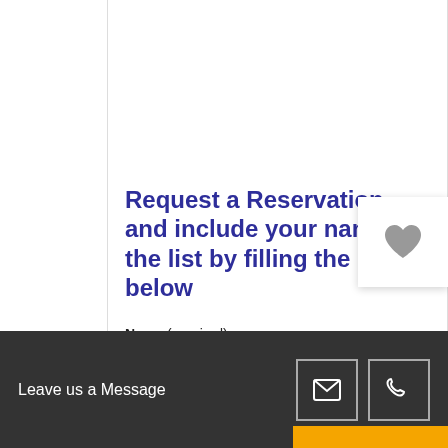America Veendam cruise to South America.
Request a Reservation and include your name in the list by filling the Form below
Name (required)
Leave us a Message